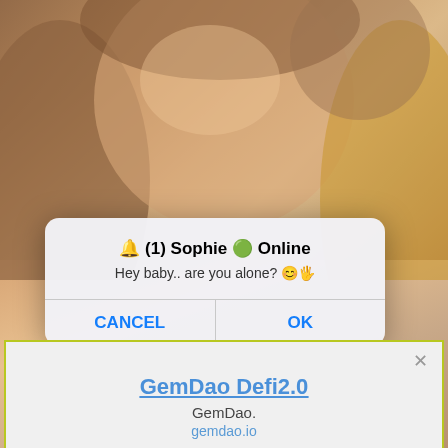[Figure (screenshot): Screenshot of a mobile browser showing a photo background of a young woman with an iOS-style dialog overlay and an advertisement banner at the bottom. The dialog reads '🔔 (1) Sophie 🟢 Online' with message 'Hey baby.. are you alone? 😊🖐' and Cancel/OK buttons. Below is an ad box with yellow-green border promoting 'GemDao Defi2.0' from GemDao. at gemdao.io.]